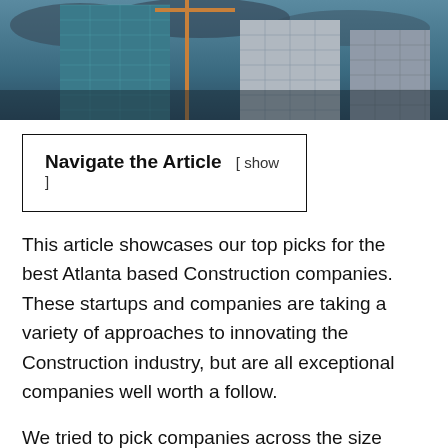[Figure (photo): Aerial/street-level photo of Atlanta city buildings and skyscrapers with teal/green glass facades against a cloudy sky]
Navigate the Article  [ show ]
This article showcases our top picks for the best Atlanta based Construction companies. These startups and companies are taking a variety of approaches to innovating the Construction industry, but are all exceptional companies well worth a follow.
We tried to pick companies across the size spectrum from cutting edge startups to established brands.